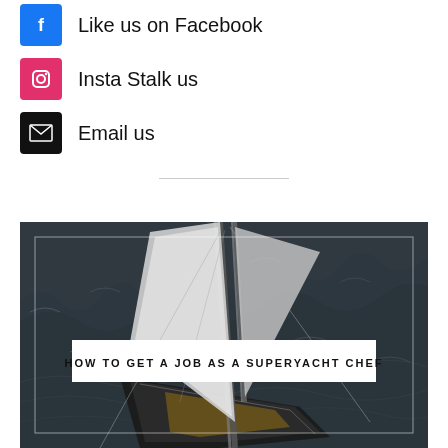Like us on Facebook
Insta Stalk us
Email us
[Figure (photo): Aerial view of a superyacht sailing on dark choppy water, photographed from above looking down at the mast and sails, with an overlaid white text box reading HOW TO GET A JOB AS A SUPERYACHT CHEF]